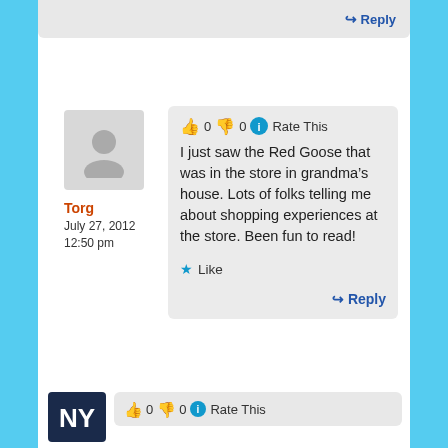↵ Reply
[Figure (photo): User avatar placeholder silhouette icon on grey background]
Torg
July 27, 2012
12:50 pm
👍 0 👎 0 ℹ Rate This
I just saw the Red Goose that was in the store in grandma's house. Lots of folks telling me about shopping experiences at the store. Been fun to read!
★ Like
↵ Reply
[Figure (logo): NY Yankees-style logo on dark blue background]
👍 0 👎 0 ℹ Rate This